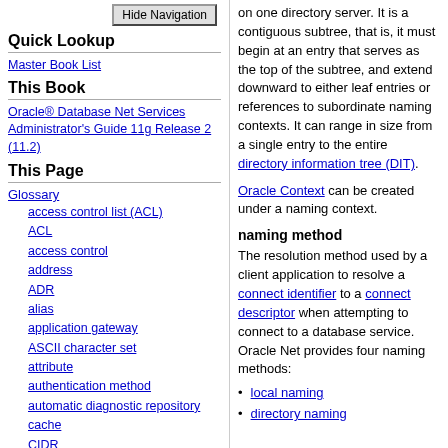[Figure (screenshot): Hide Navigation button]
Quick Lookup
Master Book List
This Book
Oracle® Database Net Services Administrator's Guide 11g Release 2 (11.2)
This Page
Glossary
access control list (ACL)
ACL
access control
address
ADR
alias
application gateway
ASCII character set
attribute
authentication method
automatic diagnostic repository
cache
CIDR
Classless Inter-Domain Routing (CIDR)
client
client load balancing
on one directory server. It is a contiguous subtree, that is, it must begin at an entry that serves as the top of the subtree, and extend downward to either leaf entries or references to subordinate naming contexts. It can range in size from a single entry to the entire directory information tree (DIT).
Oracle Context can be created under a naming context.
naming method
The resolution method used by a client application to resolve a connect identifier to a connect descriptor when attempting to connect to a database service. Oracle Net provides four naming methods:
local naming
directory naming